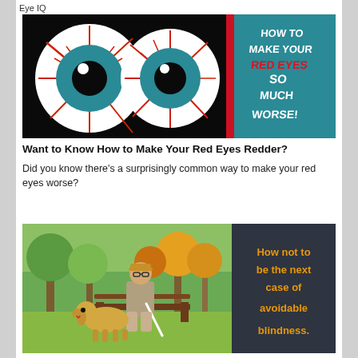Eye IQ
[Figure (infographic): Banner image with two cartoon red bloodshot eyes on black background on the left, and teal/blue panel on the right with text: HOW TO MAKE YOUR RED EYES SO MUCH WORSE! with 'RED EYES' in red and rest in white, separated by a red vertical bar.]
Want to Know How to Make Your Red Eyes Redder?
Did you know there’s a surprisingly common way to make your red eyes worse?
[Figure (photo): Elderly man with sunglasses, hat, and white cane sitting on a park bench with a golden retriever guide dog beside him in a green park setting with autumn trees. Dark gray panel on the right with orange bold text: How not to be the next case of avoidable blindness.]